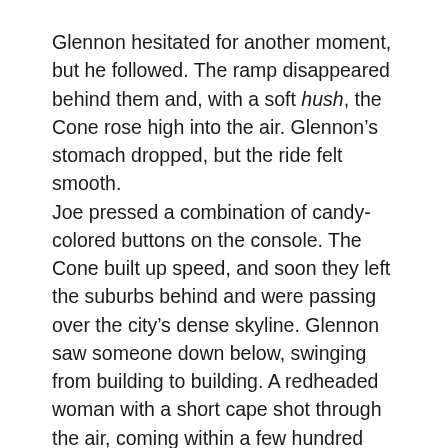Glennon hesitated for another moment, but he followed. The ramp disappeared behind them and, with a soft hush, the Cone rose high into the air. Glennon’s stomach dropped, but the ride felt smooth.
Joe pressed a combination of candy-colored buttons on the console. The Cone built up speed, and soon they left the suburbs behind and were passing over the city’s dense skyline. Glennon saw someone down below, swinging from building to building. A redheaded woman with a short cape shot through the air, coming within a few hundred feet of them.
“Don’t worry,” Joe said. “The upgraded stealth tech will keep any of those little gnats from spotting us.”
Glennon called...